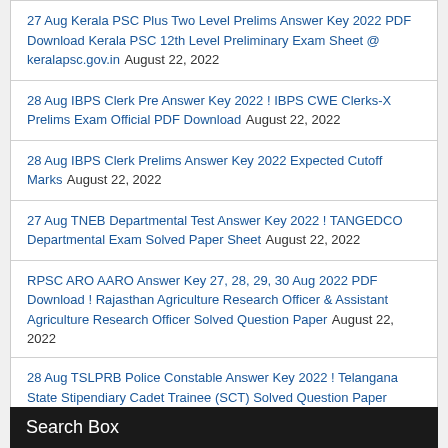27 Aug Kerala PSC Plus Two Level Prelims Answer Key 2022 PDF Download Kerala PSC 12th Level Preliminary Exam Sheet @ keralapsc.gov.in August 22, 2022
28 Aug IBPS Clerk Pre Answer Key 2022 ! IBPS CWE Clerks-X Prelims Exam Official PDF Download August 22, 2022
28 Aug IBPS Clerk Prelims Answer Key 2022 Expected Cutoff Marks August 22, 2022
27 Aug TNEB Departmental Test Answer Key 2022 ! TANGEDCO Departmental Exam Solved Paper Sheet August 22, 2022
RPSC ARO AARO Answer Key 27, 28, 29, 30 Aug 2022 PDF Download ! Rajasthan Agriculture Research Officer & Assistant Agriculture Research Officer Solved Question Paper August 22, 2022
28 Aug TSLPRB Police Constable Answer Key 2022 ! Telangana State Stipendiary Cadet Trainee (SCT) Solved Question Paper Download August 22, 2022
Search Box